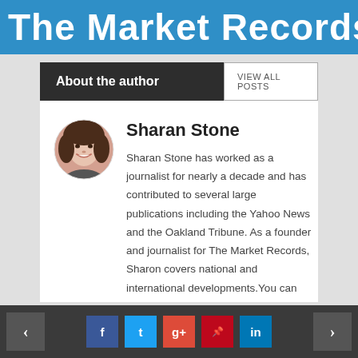The Market Records
About the author
VIEW ALL POSTS
Sharan Stone
[Figure (photo): Circular portrait photo of Sharan Stone, a woman with dark hair, smiling]
Sharan Stone has worked as a journalist for nearly a decade and has contributed to several large publications including the Yahoo News and the Oakland Tribune. As a founder and journalist for The Market Records, Sharon covers national and international developments. You can contact her at sharon@themarketrecords.com